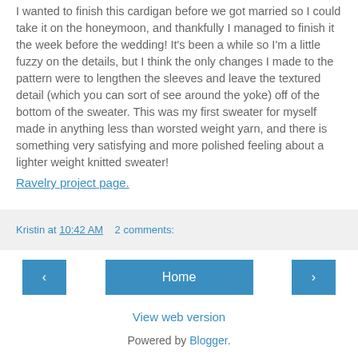I wanted to finish this cardigan before we got married so I could take it on the honeymoon, and thankfully I managed to finish it the week before the wedding! It's been a while so I'm a little fuzzy on the details, but I think the only changes I made to the pattern were to lengthen the sleeves and leave the textured detail (which you can sort of see around the yoke) off of the bottom of the sweater. This was my first sweater for myself made in anything less than worsted weight yarn, and there is something very satisfying and more polished feeling about a lighter weight knitted sweater!
Ravelry project page.
Kristin at 10:42 AM   2 comments:
‹
Home
›
View web version
Powered by Blogger.